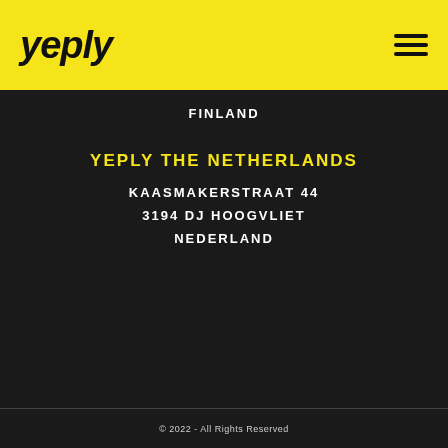[Figure (logo): Yeply logo in bold italic black text on yellow background]
FINLAND
YEPLY THE NETHERLANDS
KAASMAKERSTRAAT 44
3194 DJ HOOGVLIET
NEDERLAND
© 2022 - All Rights Reserved